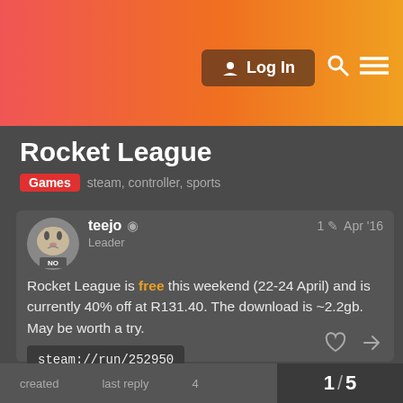Log In
Rocket League
Games   steam, controller, sports
teejo  Leader  1  Apr '16
Rocket League is free this weekend (22-24 April) and is currently 40% off at R131.40. The download is ~2.2gb. May be worth a try.
steam://run/252950
Use the link above if the clickable one doesn't work for you.
created   last reply   4